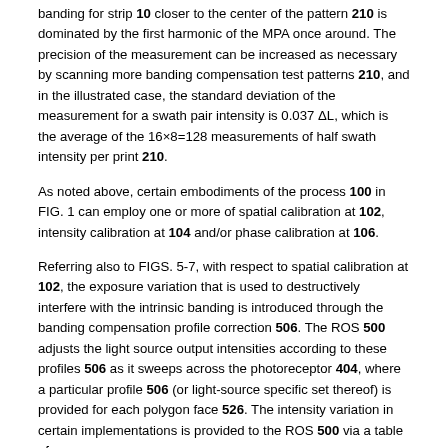banding for strip 10 closer to the center of the pattern 210 is dominated by the first harmonic of the MPA once around. The precision of the measurement can be increased as necessary by scanning more banding compensation test patterns 210, and in the illustrated case, the standard deviation of the measurement for a swath pair intensity is 0.037 ΔL, which is the average of the 16×8=128 measurements of half swath intensity per print 210.
As noted above, certain embodiments of the process 100 in FIG. 1 can employ one or more of spatial calibration at 102, intensity calibration at 104 and/or phase calibration at 106.
Referring also to FIGS. 5-7, with respect to spatial calibration at 102, the exposure variation that is used to destructively interfere with the intrinsic banding is introduced through the banding compensation profile correction 506. The ROS 500 adjusts the light source output intensities according to these profiles 506 as it sweeps across the photoreceptor 404, where a particular profile 506 (or light-source specific set thereof) is provided for each polygon face 526. The intensity variation in certain implementations is provided to the ROS 500 via a table of